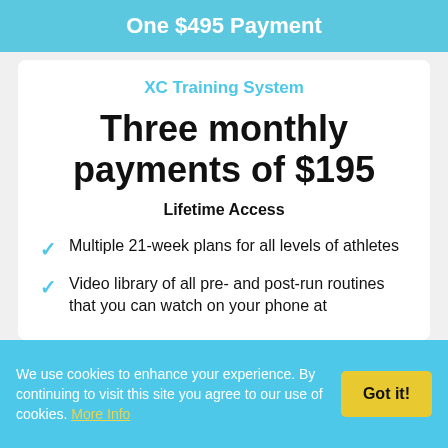One $495 Payment
XC Training System
Three monthly payments of $195
Lifetime Access
Multiple 21-week plans for all levels of athletes
Video library of all pre- and post-run routines that you can watch on your phone at
We use cookies to enhance your experience. By continuing to visit this site you agree to our use of cookies. More Info